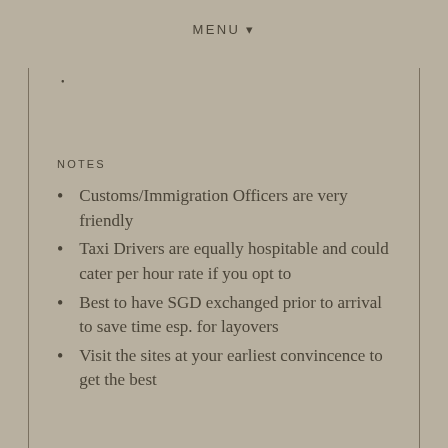MENU ▾
NOTES
Customs/Immigration Officers are very friendly
Taxi Drivers are equally hospitable and could cater per hour rate if you opt to
Best to have SGD exchanged prior to arrival to save time esp. for layovers
Visit the sites at your earliest convincence to get the best